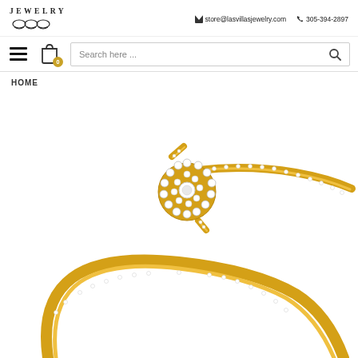JEWELRY | store@lasvillasjewelry.com | 305-394-2897
Search here ...
HOME
[Figure (photo): A yellow gold diamond bangle bracelet with a circular diamond cluster centerpiece and diamond-studded bypass design on a white background.]